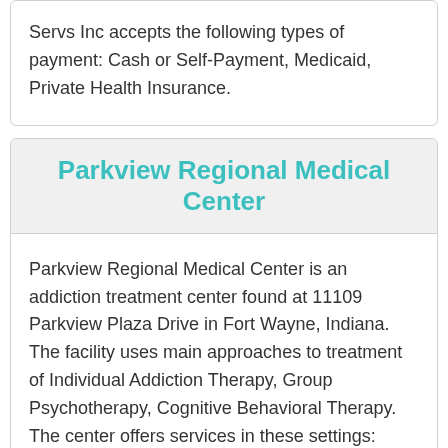Servs Inc accepts the following types of payment: Cash or Self-Payment, Medicaid, Private Health Insurance.
Parkview Regional Medical Center
Parkview Regional Medical Center is an addiction treatment center found at 11109 Parkview Plaza Drive in Fort Wayne, Indiana.
The facility uses main approaches to treatment of Individual Addiction Therapy, Group Psychotherapy, Cognitive Behavioral Therapy. The center offers services in these settings: Outpatient Recovery